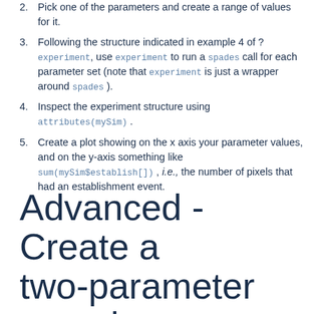2. Pick one of the parameters and create a range of values for it.
3. Following the structure indicated in example 4 of ? experiment, use experiment to run a spades call for each parameter set (note that experiment is just a wrapper around spades).
4. Inspect the experiment structure using attributes(mySim).
5. Create a plot showing on the x axis your parameter values, and on the y-axis something like sum(mySim$establish[]), i.e., the number of pixels that had an establishment event.
Advanced - Create a two-parameter experiment